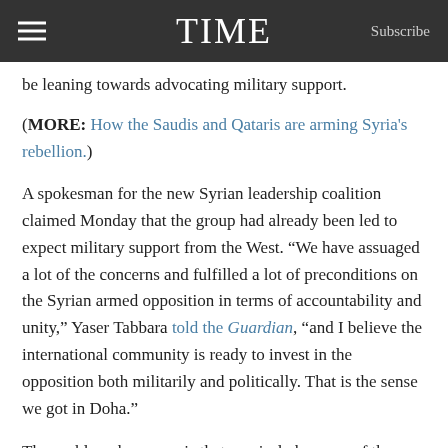TIME  Subscribe
be leaning towards advocating military support.
(MORE: How the Saudis and Qataris are arming Syria's rebellion.)
A spokesman for the new Syrian leadership coalition claimed Monday that the group had already been led to expect military support from the West. “We have assuaged a lot of the concerns and fulfilled a lot of preconditions on the Syrian armed opposition in terms of accountability and unity,” Yaser Tabbara told the Guardian, “and I believe the international community is ready to invest in the opposition both militarily and politically. That is the sense we got in Doha.”
The problem, however, is that precisely because of the foreign provenance of the new Coalition, its prospects for winning recognition on the ground as the national leadership of the